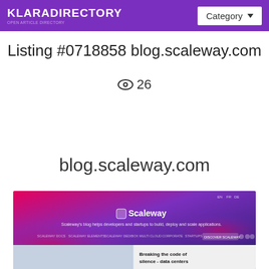KLARADIRECTORY — Category
Listing #0718858 blog.scaleway.com
👁 26
blog.scaleway.com
[Figure (screenshot): Screenshot of blog.scaleway.com website showing Scaleway's blog header with purple/pink gradient background and the text 'Scaleway's blog helps developers and startups to build, deploy and scale applications.' with navigation menu and a news article preview about 'Breaking the code of silence - data centers']